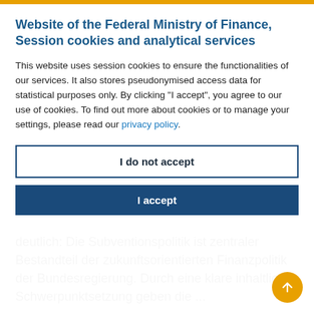Website of the Federal Ministry of Finance, Session cookies and analytical services
This website uses session cookies to ensure the functionalities of our services. It also stores pseudonymised access data for statistical purposes only. By clicking “I accept”, you agree to our use of cookies. To find out more about cookies or to manage your settings, please read our privacy policy.
I do not accept
I accept
deutlich: Die Subventionspolitik ist zentraler Bestandteil der zukunftsorientierten Finanzpolitik der Bundesregierung. Durch eine klare inhaltliche Schwerpunktsetzung geben die ...